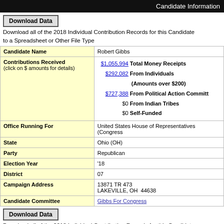Candidate Information
Download Data
Download all of the 2018 Individual Contribution Records for this Candidate to a Spreadsheet or Other File Type
| Field | Value |
| --- | --- |
| Candidate Name | Robert Gibbs |
| Contributions Received (click on $ amounts for details) | $1,055,994 Total Money Receipts
$292,082 From Individuals (Amounts over $200)
$727,388 From Political Action Committees
$0 From Indian Tribes
$0 Self-Funded |
| Office Running For | United States House of Representatives (Congress |
| State | Ohio (OH) |
| Party | Republican |
| Election Year | '18 |
| District | 07 |
| Campaign Address | 13871 TR 473
LAKEVILLE, OH  44638 |
| Candidate Committee | Gibbs For Congress |
Download Data
Download all of the 2018 Individual Contribution Records for this Candidate